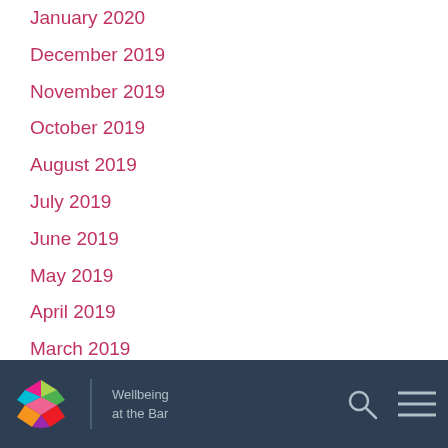January 2020
December 2019
November 2019
October 2019
August 2019
July 2019
June 2019
May 2019
April 2019
March 2019
February 2019
January 2019
December 2018
November 2018
October 2018
Wellbeing at the Bar